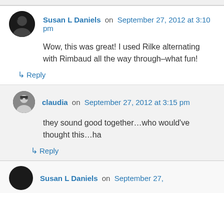Susan L Daniels on September 27, 2012 at 3:10 pm
Wow, this was great! I used Rilke alternating with Rimbaud all the way through–what fun!
↳ Reply
claudia on September 27, 2012 at 3:15 pm
they sound good together…who would've thought this…ha
↳ Reply
Susan L Daniels on September 27,